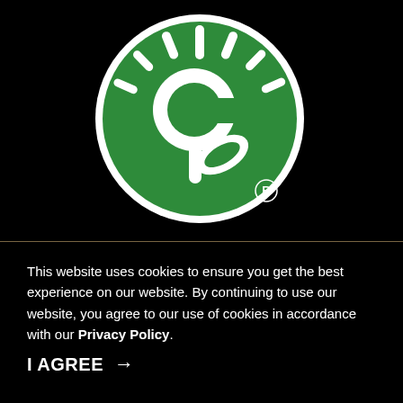[Figure (logo): Earth-friendly/eco brand logo: green circle with white stylized letter 'e' combined with a plant/leaf shape and sun rays radiating from the top, with a registered trademark symbol]
This website uses cookies to ensure you get the best experience on our website. By continuing to use our website, you agree to our use of cookies in accordance with our Privacy Policy.
I AGREE →